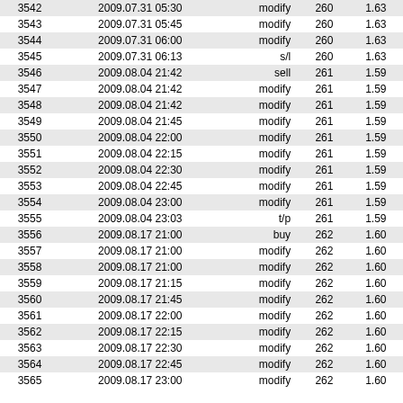| 3542 | 2009.07.31 05:30 | modify | 260 | 1.63 |
| 3543 | 2009.07.31 05:45 | modify | 260 | 1.63 |
| 3544 | 2009.07.31 06:00 | modify | 260 | 1.63 |
| 3545 | 2009.07.31 06:13 | s/l | 260 | 1.63 |
| 3546 | 2009.08.04 21:42 | sell | 261 | 1.59 |
| 3547 | 2009.08.04 21:42 | modify | 261 | 1.59 |
| 3548 | 2009.08.04 21:42 | modify | 261 | 1.59 |
| 3549 | 2009.08.04 21:45 | modify | 261 | 1.59 |
| 3550 | 2009.08.04 22:00 | modify | 261 | 1.59 |
| 3551 | 2009.08.04 22:15 | modify | 261 | 1.59 |
| 3552 | 2009.08.04 22:30 | modify | 261 | 1.59 |
| 3553 | 2009.08.04 22:45 | modify | 261 | 1.59 |
| 3554 | 2009.08.04 23:00 | modify | 261 | 1.59 |
| 3555 | 2009.08.04 23:03 | t/p | 261 | 1.59 |
| 3556 | 2009.08.17 21:00 | buy | 262 | 1.60 |
| 3557 | 2009.08.17 21:00 | modify | 262 | 1.60 |
| 3558 | 2009.08.17 21:00 | modify | 262 | 1.60 |
| 3559 | 2009.08.17 21:15 | modify | 262 | 1.60 |
| 3560 | 2009.08.17 21:45 | modify | 262 | 1.60 |
| 3561 | 2009.08.17 22:00 | modify | 262 | 1.60 |
| 3562 | 2009.08.17 22:15 | modify | 262 | 1.60 |
| 3563 | 2009.08.17 22:30 | modify | 262 | 1.60 |
| 3564 | 2009.08.17 22:45 | modify | 262 | 1.60 |
| 3565 | 2009.08.17 23:00 | modify | 262 | 1.60 |